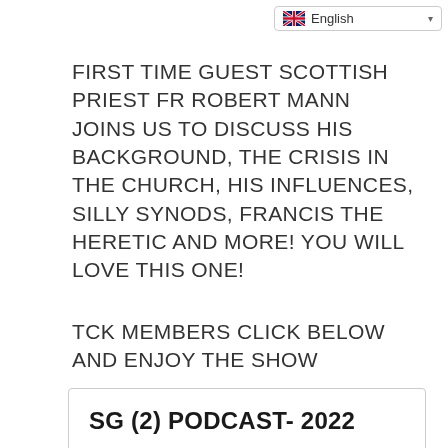English
FIRST TIME GUEST SCOTTISH PRIEST FR ROBERT MANN JOINS US TO DISCUSS HIS BACKGROUND, THE CRISIS IN THE CHURCH, HIS INFLUENCES, SILLY SYNODS, FRANCIS THE HERETIC AND MORE! YOU WILL LOVE THIS ONE!
TCK MEMBERS CLICK BELOW AND ENJOY THE SHOW
SG (2) PODCAST- 2022
(BECOME A MEMBER) ACCESS TO THE WEBSITE: https://tradcatknight.memberful.com/checkout?plan=30842   Why A Paywall?